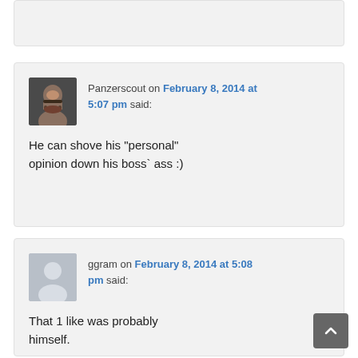[Figure (screenshot): Partial top comment card (cropped at top of page)]
Panzerscout on February 8, 2014 at 5:07 pm said: He can shove his “personal” opinion down his boss` ass :)
ggram on February 8, 2014 at 5:08 pm said: That 1 like was probably himself.